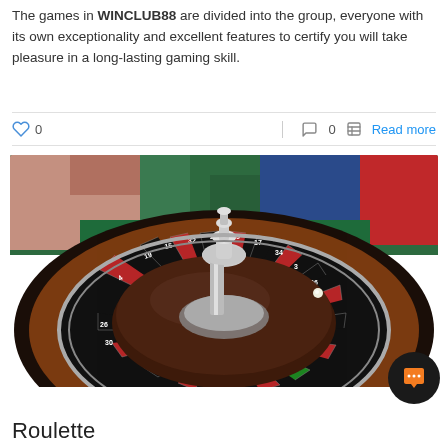The games in WINCLUB88 are divided into the group, everyone with its own exceptionality and excellent features to certify you will take pleasure in a long-lasting gaming skill.
♡ 0   💬 0   📄 Read more
[Figure (photo): A close-up photo of a casino roulette wheel with red and black numbered slots, with casino table and players visible in the background.]
Roulette